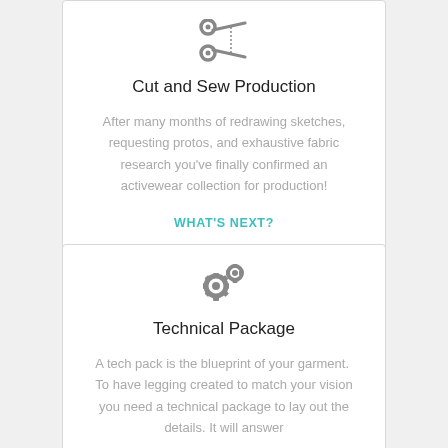[Figure (illustration): Scissors icon in gray]
Cut and Sew Production
After many months of redrawing sketches, requesting protos, and exhaustive fabric research you've finally confirmed an activewear collection for production!
WHAT'S NEXT?
[Figure (illustration): Gears/settings icon in gray]
Technical Package
A tech pack is the blueprint of your garment.  To have legging created to match your vision you need a technical package to lay out the details. It will answer